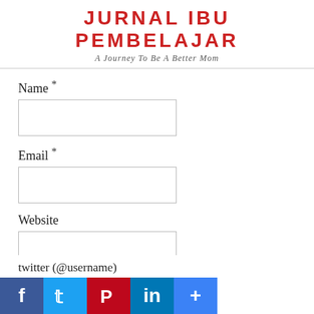JURNAL IBU PEMBELAJAR
A Journey To Be A Better Mom
Name *
Email *
Website
twitter (@username)
[Figure (infographic): Social media sharing icons: Facebook (blue), Twitter (light blue), Pinterest (red), LinkedIn (blue), More/Plus (blue)]